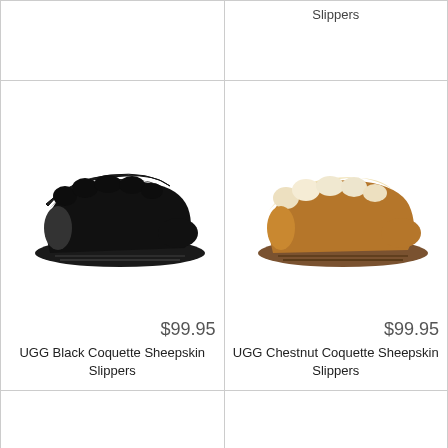[Figure (photo): Partial top-row cell, left — cropped product cell from previous row]
Slippers
[Figure (photo): UGG Black Coquette Sheepskin Slippers product photo — black suede mule slipper with black shearling cuff]
$99.95
UGG Black Coquette Sheepskin Slippers
[Figure (photo): UGG Chestnut Coquette Sheepskin Slippers product photo — chestnut tan suede mule slipper with cream shearling cuff]
$99.95
UGG Chestnut Coquette Sheepskin Slippers
[Figure (photo): UGG dark brown/chocolate Coquette Sheepskin Slippers product photo]
[Figure (photo): UGG grey Coquette Sheepskin Slippers product photo — with scroll/next button overlay]